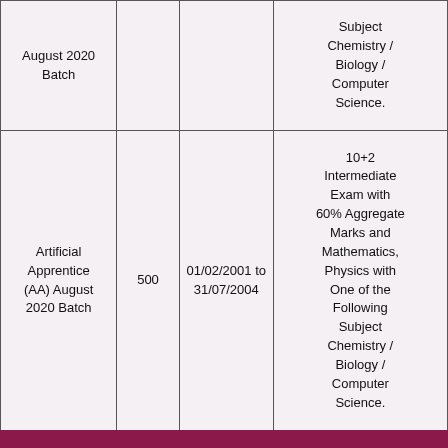| August 2020 Batch |  |  | Subject Chemistry / Biology / Computer Science. |
| Artificial Apprentice (AA) August 2020 Batch | 500 | 01/02/2001 to 31/07/2004 | 10+2 Intermediate Exam with 60% Aggregate Marks and Mathematics, Physics with One of the Following Subject Chemistry / Biology / Computer Science. |